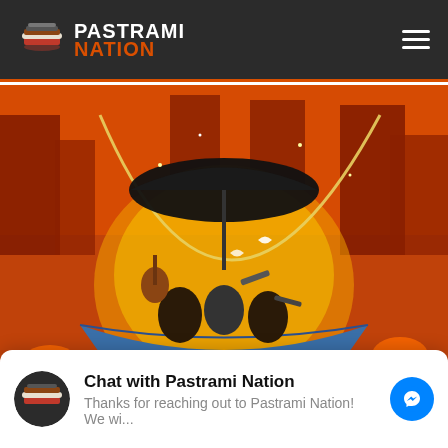PASTRAMI NATION
[Figure (illustration): Colorful action illustration showing figures in a blue boat under a large black umbrella, surrounded by fire, guitars, weapons, and urban destruction in orange and red tones]
Chat with Pastrami Nation
Thanks for reaching out to Pastrami Nation! We wi...